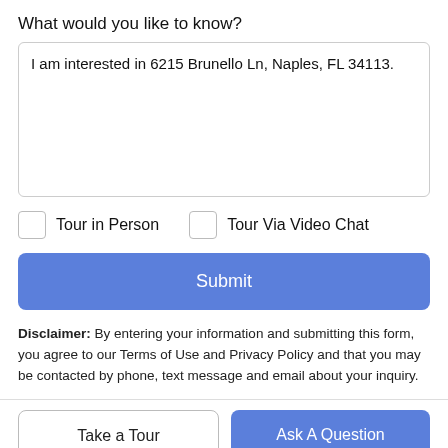What would you like to know?
I am interested in 6215 Brunello Ln, Naples, FL 34113.
Tour in Person
Tour Via Video Chat
Submit
Disclaimer: By entering your information and submitting this form, you agree to our Terms of Use and Privacy Policy and that you may be contacted by phone, text message and email about your inquiry.
Take a Tour
Ask A Question